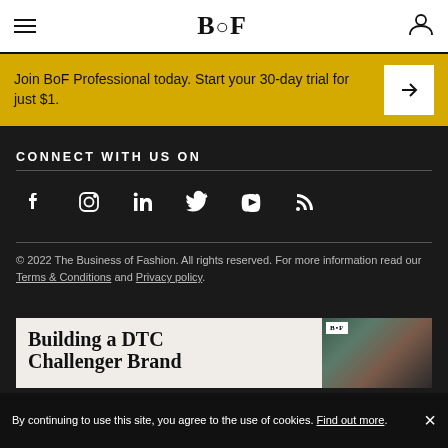BOF
Join BoF Professional today. Start your 30-day trial for just $1.
CONNECT WITH US ON
[Figure (illustration): Social media icons row: Facebook, Instagram, LinkedIn, Twitter, YouTube, RSS]
© 2022 The Business of Fashion. All rights reserved. For more information read our Terms & Conditions and Privacy policy.
[Figure (illustration): Article card preview: Building a DTC Challenger Brand with BOF badge and group photo]
By continuing to use this site, you agree to the use of cookies. Find out more.